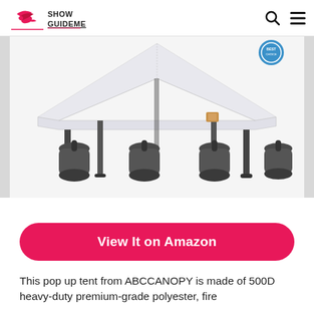Show GuideMe
[Figure (photo): White pop-up canopy tent with black metal legs shown from front angle, plus four dark gray/black sand weight bags shown below the tent on white background]
View It on Amazon
This pop up tent from ABCCANOPY is made of 500D heavy-duty premium-grade polyester, fire